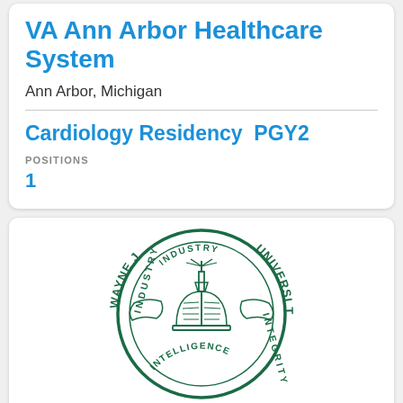VA Ann Arbor Healthcare System
Ann Arbor, Michigan
Cardiology Residency  PGY2
POSITIONS
1
[Figure (logo): Wayne State University circular seal in dark green showing an open book with torch above, surrounded by text INDUSTRY INTELLIGENCE INTEGRITY and WAYNE STATE UNIVERSITY]
Wayne State University